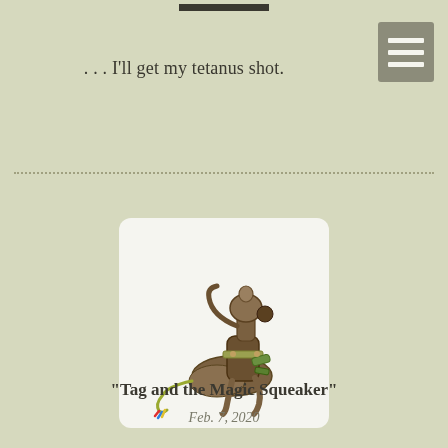. . . I'll get my tetanus shot.
[Figure (illustration): A whimsical dog sculpture made from rusty metal scraps and wire, in a playful pose with wires trailing from its tail end, set against a white rounded-rectangle background.]
"Tag and the Magic Squeaker"
Feb. 7, 2020